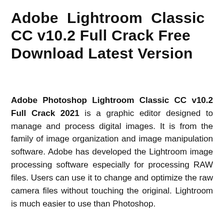Adobe Lightroom Classic CC v10.2 Full Crack Free Download Latest Version
Adobe Photoshop Lightroom Classic CC v10.2 Full Crack 2021 is a graphic editor designed to manage and process digital images. It is from the family of image organization and image manipulation software. Adobe has developed the Lightroom image processing software especially for processing RAW files. Users can use it to change and optimize the raw camera files without touching the original. Lightroom is much easier to use than Photoshop.